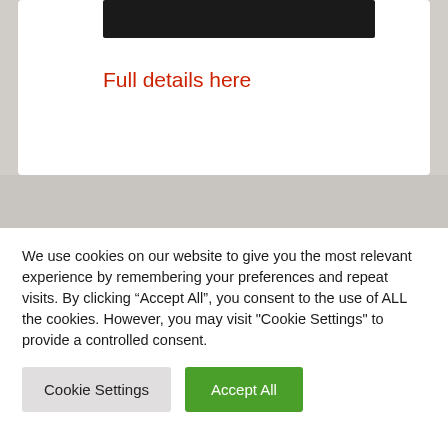[Figure (screenshot): Black banner/bar at top of a white card]
Full details here
Recent Posts from johnsaye.com
Killed twice by a Red Dragon
When the snake people ask for your help
We use cookies on our website to give you the most relevant experience by remembering your preferences and repeat visits. By clicking “Accept All”, you consent to the use of ALL the cookies. However, you may visit "Cookie Settings" to provide a controlled consent.